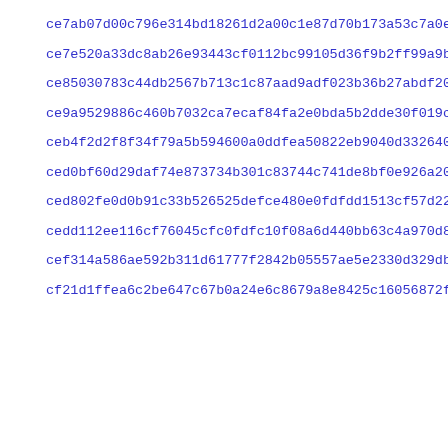ce7ab07d00c796e314bd18261d2a00c1e87d70b173a53c7a0e9e1298c5c42
ce7e520a33dc8ab26e93443cf0112bc99105d36f9b2ff99a9b6321ba75e46
ce85030783c44db2567b713c1c87aad9adf023b36b27abdf20c3b8c5735de
ce9a9529886c460b7032ca7ecaf84fa2e0bda5b2dde30f019cffc2c0fa64b
ceb4f2d2f8f34f79a5b594600a0ddfea50822eb9040d3326400e48911d76c
ced0bf60d29daf74e873734b301c83744c741de8bf0e926a20c64335808f5
ced802fe0d0b91c33b526525defce480e0fdfdd1513cf57d22d674881f489
cedd112ee116cf76045cfc0fdfc10f08a6d440bb63c4a970d814a18b0ca42
cef314a586ae592b311d61777f2842b05557ae5e2330d329db8f84fa9d846
cf21d1ffea6c2be647c67b0a24e6c8679a8e8425c16056872f604154eb39f